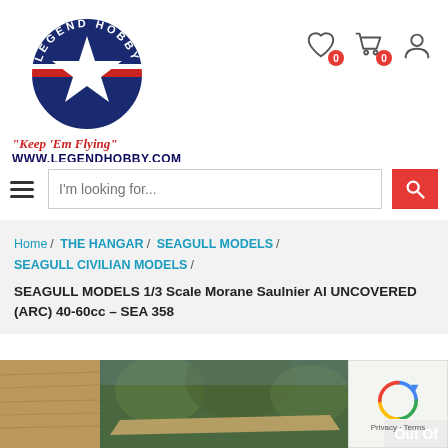[Figure (logo): Legend Hobby logo: navy blue circle with white star and red/white horizontal bars, text 'LEGEND HOBBY' around top arc]
"Keep 'Em Flying"
WWW.LEGENDHOBBY.COM
[Figure (infographic): Header icons: heart/wishlist with badge 0, shopping cart with badge 0, and user account icon]
[Figure (infographic): Search bar with hamburger menu icon, placeholder text 'I'm looking for...', and red search button]
Home / THE HANGAR / SEAGULL MODELS / SEAGULL CIVILIAN MODELS /
SEAGULL MODELS 1/3 Scale Morane Saulnier AI UNCOVERED (ARC) 40-60cc – SEA 358
[Figure (photo): Product image strip showing model airplane photos with 'Out Of' text overlay on dark background, and a reCAPTCHA badge in bottom right]